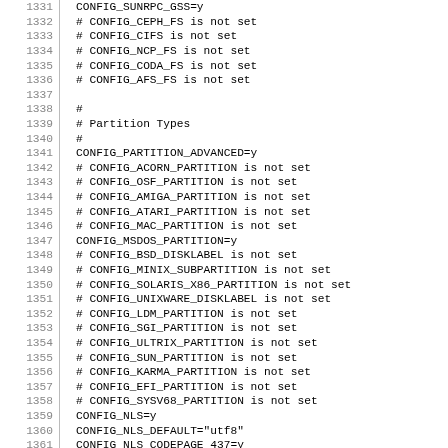1331 CONFIG_SUNRPC_GSS=y
1332 # CONFIG_CEPH_FS is not set
1333 # CONFIG_CIFS is not set
1334 # CONFIG_NCP_FS is not set
1335 # CONFIG_CODA_FS is not set
1336 # CONFIG_AFS_FS is not set
1337 
1338 #
1339 # Partition Types
1340 #
1341 CONFIG_PARTITION_ADVANCED=y
1342 # CONFIG_ACORN_PARTITION is not set
1343 # CONFIG_OSF_PARTITION is not set
1344 # CONFIG_AMIGA_PARTITION is not set
1345 # CONFIG_ATARI_PARTITION is not set
1346 # CONFIG_MAC_PARTITION is not set
1347 CONFIG_MSDOS_PARTITION=y
1348 # CONFIG_BSD_DISKLABEL is not set
1349 # CONFIG_MINIX_SUBPARTITION is not set
1350 # CONFIG_SOLARIS_X86_PARTITION is not set
1351 # CONFIG_UNIXWARE_DISKLABEL is not set
1352 # CONFIG_LDM_PARTITION is not set
1353 # CONFIG_SGI_PARTITION is not set
1354 # CONFIG_ULTRIX_PARTITION is not set
1355 # CONFIG_SUN_PARTITION is not set
1356 # CONFIG_KARMA_PARTITION is not set
1357 # CONFIG_EFI_PARTITION is not set
1358 # CONFIG_SYSV68_PARTITION is not set
1359 CONFIG_NLS=y
1360 CONFIG_NLS_DEFAULT="utf8"
1361 CONFIG_NLS_CODEPAGE_437=y